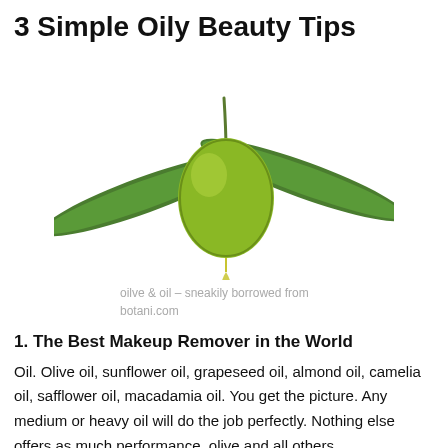3 Simple Oily Beauty Tips
[Figure (illustration): A green olive with leaves and a drop of oil falling from it, on a white background.]
oilve & oil – sneakily borrowed from botani.com
1. The Best Makeup Remover in the World
Oil. Olive oil, sunflower oil, grapeseed oil, almond oil, camelia oil, safflower oil, macadamia oil. You get the picture. Any medium or heavy oil will do the job perfectly. Nothing else offers as much performance, olive and all others